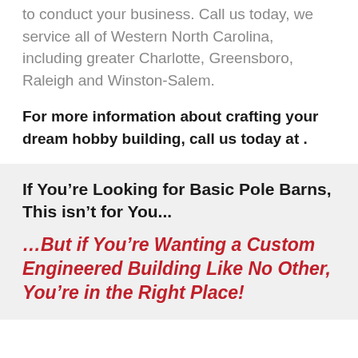to conduct your business. Call us today, we service all of Western North Carolina, including greater Charlotte, Greensboro, Raleigh and Winston-Salem.
For more information about crafting your dream hobby building, call us today at .
If You’re Looking for Basic Pole Barns, This isn’t for You...
…But if You’re Wanting a Custom Engineered Building Like No Other, You’re in the Right Place!